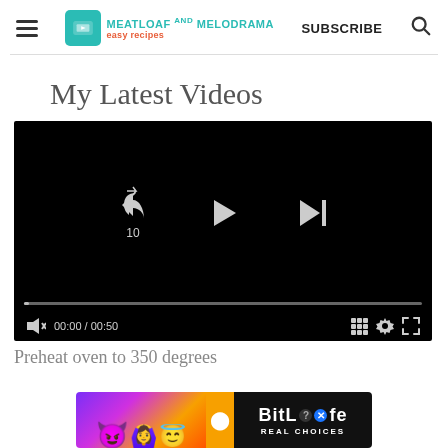Meatloaf and Melodrama - easy recipes | SUBSCRIBE
My Latest Videos
[Figure (screenshot): Embedded video player with black screen showing playback controls: rewind 10s, play, next buttons, progress bar at 00:00/00:50, grid, settings and fullscreen icons]
Preheat oven to 350 degrees
[Figure (other): BitLife advertisement banner with colorful emoji characters (devil, person with hands up, angel emoji) and text BITLIFE REAL CHOICES on dark background]